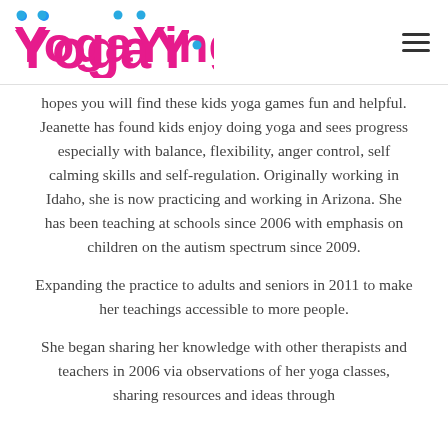YogaYingo [logo]
hopes you will find these kids yoga games fun and helpful. Jeanette has found kids enjoy doing yoga and sees progress especially with balance, flexibility, anger control, self calming skills and self-regulation. Originally working in Idaho, she is now practicing and working in Arizona. She has been teaching at schools since 2006 with emphasis on children on the autism spectrum since 2009.
Expanding the practice to adults and seniors in 2011 to make her teachings accessible to more people.
She began sharing her knowledge with other therapists and teachers in 2006 via observations of her yoga classes, sharing resources and ideas through